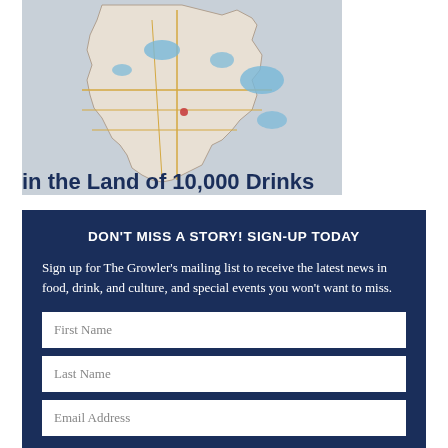[Figure (map): Map of Minnesota state showing roads and lakes, partial view showing the state outline.]
in the Land of 10,000 Drinks
DON'T MISS A STORY! SIGN-UP TODAY
Sign up for The Growler's mailing list to receive the latest news in food, drink, and culture, and special events you won't want to miss.
First Name
Last Name
Email Address